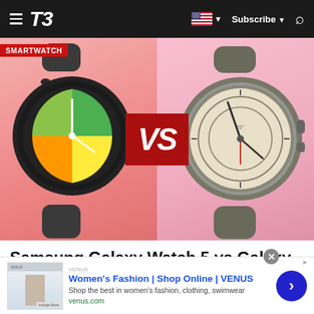T3 — Subscribe — Search
[Figure (photo): Hero image showing Samsung Galaxy Watch 5 on the left and Samsung Galaxy Watch 5 Pro on the right, with a red 'VS' badge in the center. Pink/red gradient background. SMARTWATCH label in top-left corner.]
Samsung Galaxy Watch 5 vs Galaxy Watch 5 Pro: do you need to go pro?
[Figure (other): Advertisement banner for Women's Fashion | Shop Online | VENUS. Shows a thumbnail image of a model, ad title 'Women's Fashion | Shop Online | VENUS', description 'Shop the best in women's fashion, clothing, swimwear', URL 'venus.com', and a blue circular arrow button.]